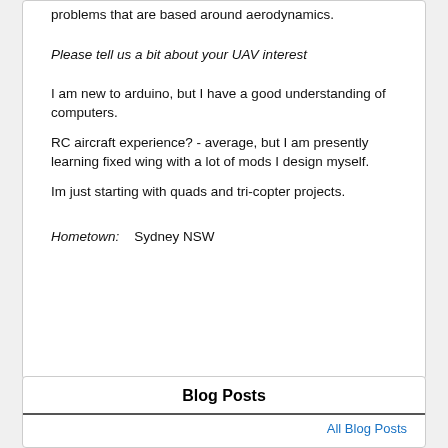problems that are based around aerodynamics.
Please tell us a bit about your UAV interest
I am new to arduino, but I have a good understanding of computers.
RC aircraft experience? - average, but I am presently learning fixed wing with a lot of mods I design myself.
Im just starting with quads and tri-copter projects.
Hometown:    Sydney NSW
Blog Posts
All Blog Posts